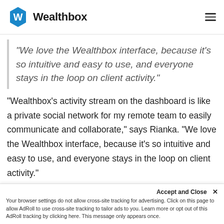[Figure (logo): Wealthbox logo: blue hexagon icon with 'W' and bold text 'Wealthbox' beside it, hamburger menu icon on the right]
“We love the Wealthbox interface, because it’s so intuitive and easy to use, and everyone stays in the loop on client activity.”
“Wealthbox’s activity stream on the dashboard is like a private social network for my remote team to easily communicate and collaborate,” says Rianka. “We love the Wealthbox interface, because it’s so intuitive and easy to use, and everyone stays in the loop on client activity.”
Accept and Close ×
Your browser settings do not allow cross-site tracking for advertising. Click on this page to allow AdRoll to use cross-site tracking to tailor ads to you. Learn more or opt out of this AdRoll tracking by clicking here. This message only appears once.